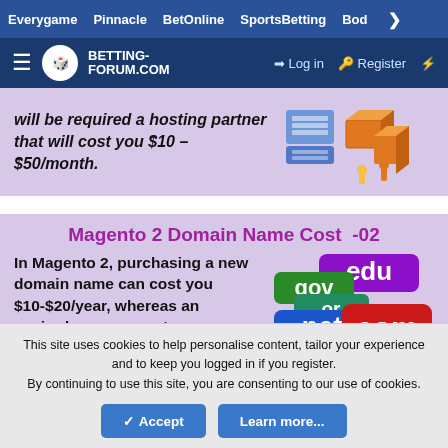Everygame  Pinnacle  BetOnline  SportsBetting  Bod  >
[Figure (logo): Betting-Forum.com logo with hamburger menu, Log in and Register navigation links]
will be required a hosting partner that will cost you $10 – $50/month.
Magento 2 Domain Name Cost  -02
In Magento 2, purchasing a new domain name can cost you $10-$20/year, whereas an expired one can cost
This site uses cookies to help personalise content, tailor your experience and to keep you logged in if you register.
By continuing to use this site, you are consenting to our use of cookies.